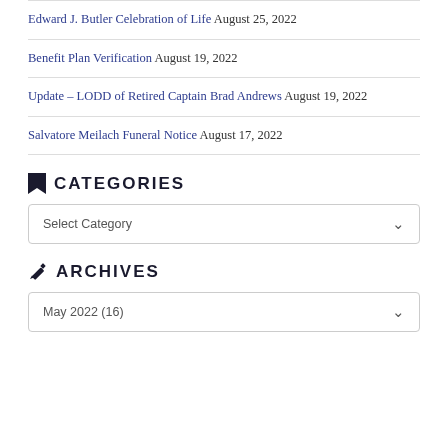Edward J. Butler Celebration of Life August 25, 2022
Benefit Plan Verification August 19, 2022
Update – LODD of Retired Captain Brad Andrews August 19, 2022
Salvatore Meilach Funeral Notice August 17, 2022
CATEGORIES
Select Category
ARCHIVES
May 2022  (16)